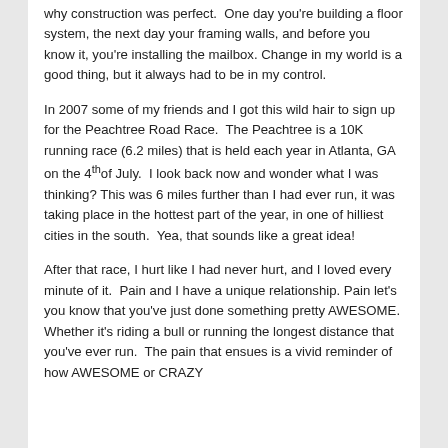why construction was perfect. One day you're building a floor system, the next day your framing walls, and before you know it, you're installing the mailbox. Change in my world is a good thing, but it always had to be in my control.
In 2007 some of my friends and I got this wild hair to sign up for the Peachtree Road Race. The Peachtree is a 10K running race (6.2 miles) that is held each year in Atlanta, GA on the 4th of July. I look back now and wonder what I was thinking? This was 6 miles further than I had ever run, it was taking place in the hottest part of the year, in one of hilliest cities in the south. Yea, that sounds like a great idea!
After that race, I hurt like I had never hurt, and I loved every minute of it. Pain and I have a unique relationship. Pain let's you know that you've just done something pretty AWESOME. Whether it's riding a bull or running the longest distance that you've ever run. The pain that ensues is a vivid reminder of how AWESOME or CRAZY